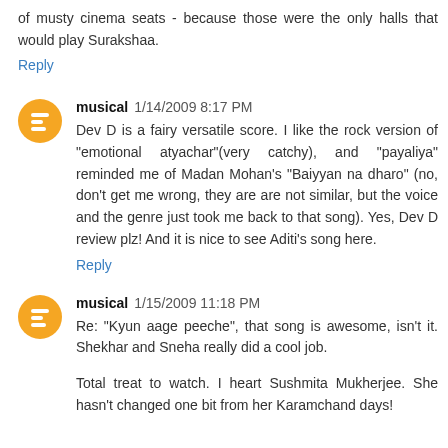of musty cinema seats - because those were the only halls that would play Surakshaa.
Reply
musical 1/14/2009 8:17 PM
Dev D is a fairy versatile score. I like the rock version of "emotional atyachar"(very catchy), and "payaliya" reminded me of Madan Mohan's "Baiyyan na dharo" (no, don't get me wrong, they are are not similar, but the voice and the genre just took me back to that song). Yes, Dev D review plz! And it is nice to see Aditi's song here.
Reply
musical 1/15/2009 11:18 PM
Re: "Kyun aage peeche", that song is awesome, isn't it. Shekhar and Sneha really did a cool job.
Total treat to watch. I heart Sushmita Mukherjee. She hasn't changed one bit from her Karamchand days!